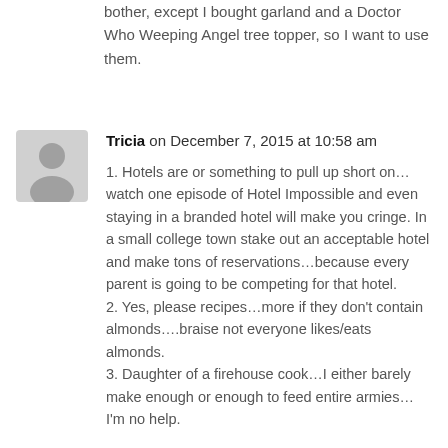bother, except I bought garland and a Doctor Who Weeping Angel tree topper, so I want to use them.
Tricia on December 7, 2015 at 10:58 am
[Figure (illustration): Grey silhouette avatar icon of a person]
1. Hotels are or something to pull up short on…watch one episode of Hotel Impossible and even staying in a branded hotel will make you cringe. In a small college town stake out an acceptable hotel and make tons of reservations…because every parent is going to be competing for that hotel.
2. Yes, please recipes…more if they don't contain almonds….braise not everyone likes/eats almonds.
3. Daughter of a firehouse cook…I either barely make enough or enough to feed entire armies…I'm no help.